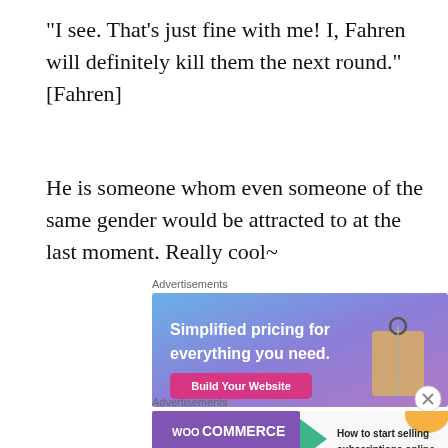“I see. That’s just fine with me! I, Fahren will definitely kill them the next round.” [Fahren]
He is someone whom even someone of the same gender would be attracted to at the last moment. Really cool~
Advertisements
[Figure (illustration): Advertisement banner: gradient blue-purple background with a price tag graphic. Text reads 'Simplified pricing for everything you need.' with a pink 'Build Your Website' button.]
Advertisements
[Figure (illustration): WooCommerce advertisement banner with purple WooCommerce logo, green arrow graphic, orange and blue decorative shapes, and text 'How to start selling subscriptions online']